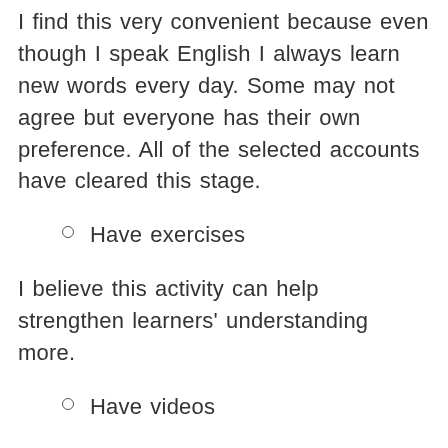I find this very convenient because even though I speak English I always learn new words every day. Some may not agree but everyone has their own preference. All of the selected accounts have cleared this stage.
Have exercises
I believe this activity can help strengthen learners' understanding more.
Have videos
Having videos where learners can hear English being spoken is super helpful. There may be more to it...